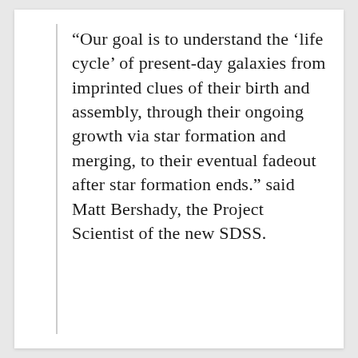“Our goal is to understand the ‘life cycle’ of present-day galaxies from imprinted clues of their birth and assembly, through their ongoing growth via star formation and merging, to their eventual fadeout after star formation ends.” said Matt Bershady, the Project Scientist of the new SDSS.